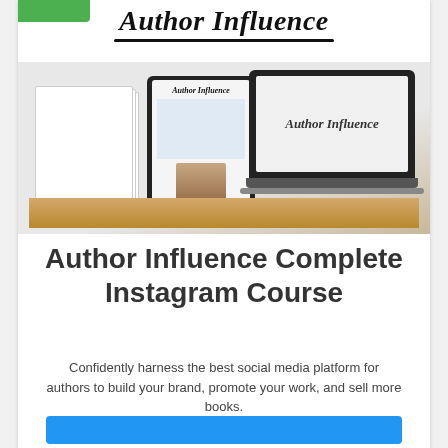Author Influence
[Figure (photo): Product mockup showing printed worksheets, a tablet with Author Influence website, and a laptop displaying 'Author Influence' on a wooden desk]
Author Influence Complete Instagram Course
Confidently harness the best social media platform for authors to build your brand, promote your work, and sell more books.